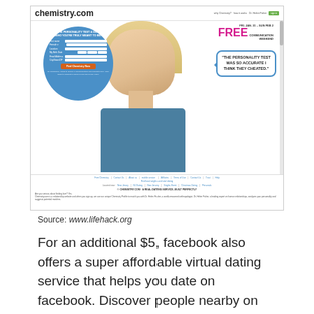[Figure (screenshot): Screenshot of chemistry.com website showing a registration form in a blue circle, a blonde woman, a free communication weekend banner, and a speech bubble quote: 'The personality test was so accurate I think they cheated.']
Source: www.lifehack.org
For an additional $5, facebook also offers a super affordable virtual dating service that helps you date on facebook. Discover people nearby on the radar, find new friends, or the love of your life!